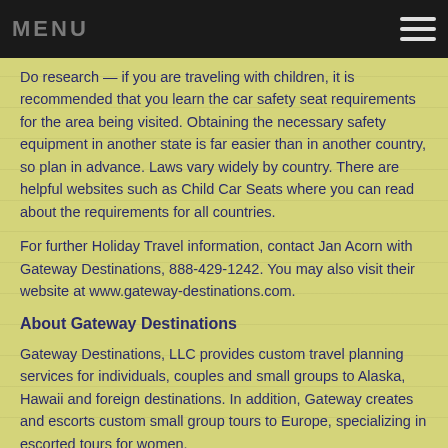MENU
Do research — if you are traveling with children, it is recommended that you learn the car safety seat requirements for the area being visited. Obtaining the necessary safety equipment in another state is far easier than in another country, so plan in advance. Laws vary widely by country. There are helpful websites such as Child Car Seats where you can read about the requirements for all countries.
For further Holiday Travel information, contact Jan Acorn with Gateway Destinations, 888-429-1242. You may also visit their website at www.gateway-destinations.com.
About Gateway Destinations
Gateway Destinations, LLC provides custom travel planning services for individuals, couples and small groups to Alaska, Hawaii and foreign destinations. In addition, Gateway creates and escorts custom small group tours to Europe, specializing in escorted tours for women.
-END-
FOR IMMEDIATE RELEASE:
CONTACT: